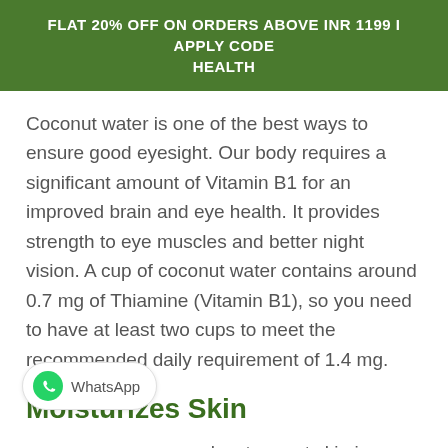FLAT 20% OFF ON ORDERS ABOVE INR 1199 I APPLY CODE HEALTH
Coconut water is one of the best ways to ensure good eyesight. Our body requires a significant amount of Vitamin B1 for an improved brain and eye health. It provides strength to eye muscles and better night vision. A cup of coconut water contains around 0.7 mg of Thiamine (Vitamin B1), so you need to have at least two cups to meet the recommended daily requirement of 1.4 mg.
Moisturizes Skin
n key to great skin is proper hydration. The sun rays, dirt and harsh